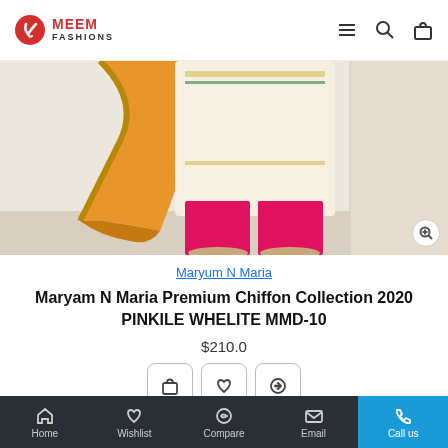MEEM FASHIONS
[Figure (photo): Fashion photo showing traditional South Asian outfit with a pink (magenta) trouser/palazzo, embroidered white/cream kurti, and orange chiffon dupatta with gold borders, photographed on a model from waist down.]
Maryum N Maria
Maryam N Maria Premium Chiffon Collection 2020 PINKILE WHELITE MMD-10
$210.0
Home  Wishlist  Compare  Email  Call us